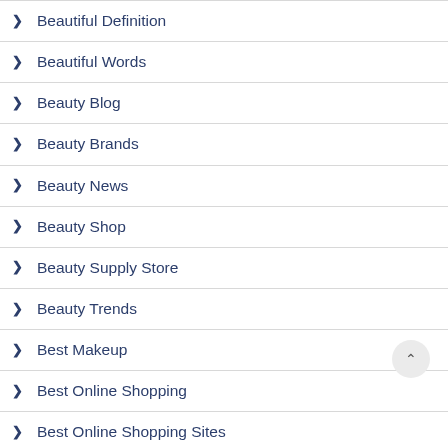Beautiful Definition
Beautiful Words
Beauty Blog
Beauty Brands
Beauty News
Beauty Shop
Beauty Supply Store
Beauty Trends
Best Makeup
Best Online Shopping
Best Online Shopping Sites
Best Shopping Websites